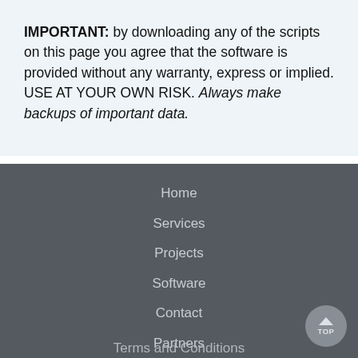IMPORTANT: by downloading any of the scripts on this page you agree that the software is provided without any warranty, express or implied. USE AT YOUR OWN RISK. Always make backups of important data.
Home
Services
Projects
Software
Contact
Partners
Privacy Policy
Terms and Conditions